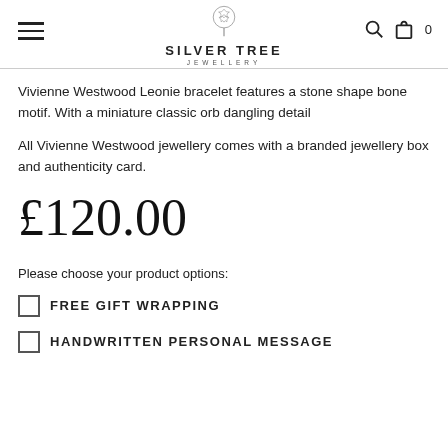Silver Tree Jewellery
Vivienne Westwood Leonie bracelet features a stone shape bone motif. With a miniature classic orb dangling detail
All Vivienne Westwood jewellery comes with a branded jewellery box and authenticity card.
£120.00
Please choose your product options:
FREE GIFT WRAPPING
HANDWRITTEN PERSONAL MESSAGE